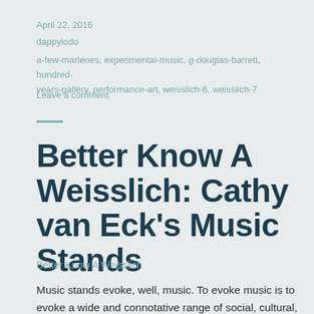April 22, 2016
dappyiodo
a-few-marlenes, experimental-music, g-douglas-barrett, hundred-years-gallery, performance-art, weisslich-6, weisslich-7
Leave a comment
Better Know A Weisslich: Cathy van Eck's Music Stands
Better Know A Weisslich
Music stands evoke, well, music. To evoke music is to evoke a wide and connotative range of social, cultural, political, and aesthetic associations. Music stands